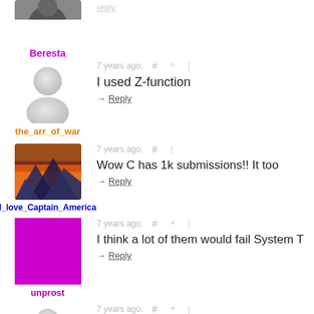[Figure (photo): Partial avatar photo of Beresta at top of page]
Beresta
[Figure (illustration): Generic grey avatar silhouette for the_arr_of_war]
the_arr_of_war
7 years ago,  #  ^  |
I used Z-function
→ Reply
[Figure (photo): Mountain landscape at sunset avatar for I_love_Captain_America]
I_love_Captain_America
7 years ago,  #  |
Wow C has 1k submissions!! It too
→ Reply
[Figure (illustration): Solid purple square avatar for unprost]
unprost
7 years ago,  #  ^  |
I think a lot of them would fail System T
→ Reply
[Figure (illustration): Generic grey avatar silhouette at bottom, partially cut off]
7 years ago,  #  ^  |
From your earlier comment it seems th